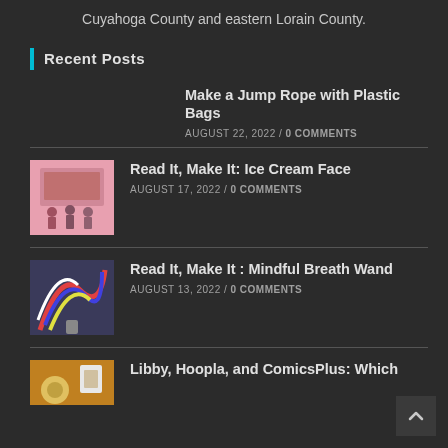Cuyahoga County and eastern Lorain County.
Recent Posts
Make a Jump Rope with Plastic Bags
AUGUST 22, 2022 / 0 COMMENTS
[Figure (photo): Children in a classroom, pink background book cover thumbnail]
Read It, Make It: Ice Cream Face
AUGUST 17, 2022 / 0 COMMENTS
[Figure (photo): Colorful craft ribbon/wand thumbnail]
Read It, Make It : Mindful Breath Wand
AUGUST 13, 2022 / 0 COMMENTS
[Figure (photo): Food/donut thumbnail, partially visible]
Libby, Hoopla, and ComicsPlus: Which